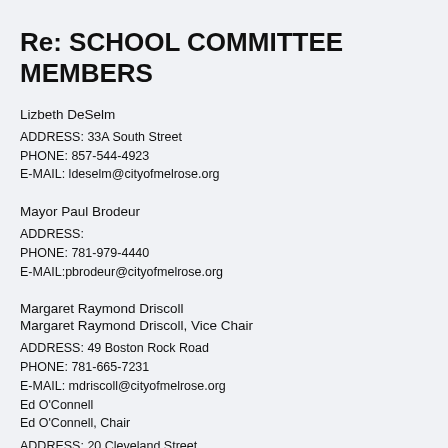Re: SCHOOL COMMITTEE MEMBERS
Lizbeth DeSelm
ADDRESS: 33A South Street
PHONE: 857-544-4923
E-MAIL: ldeselm@cityofmelrose.org
Mayor Paul Brodeur
ADDRESS:
PHONE: 781-979-4440
E-MAIL:pbrodeur@cityofmelrose.org
Margaret Raymond Driscoll
Margaret Raymond Driscoll, Vice Chair
ADDRESS: 49 Boston Rock Road
PHONE: 781-665-7231
E-MAIL: mdriscoll@cityofmelrose.org
Ed O'Connell
Ed O'Connell, Chair
ADDRESS: 20 Cleveland Street
PHONE: 781-854-2903
E-MAIL: oconnell@cityofmelrose.org